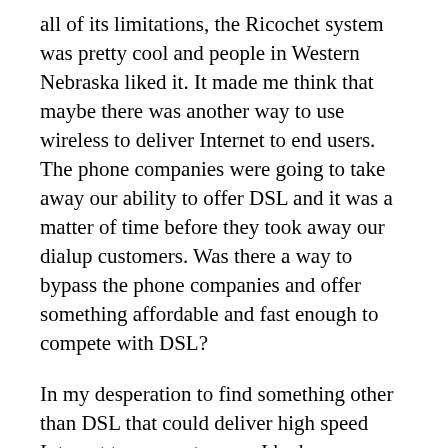all of its limitations, the Ricochet system was pretty cool and people in Western Nebraska liked it. It made me think that maybe there was another way to use wireless to deliver Internet to end users. The phone companies were going to take away our ability to offer DSL and it was a matter of time before they took away our dialup customers. Was there a way to bypass the phone companies and offer something affordable and fast enough to compete with DSL?
In my desperation to find something other than DSL that could deliver high speed Internet to our customers, I had come across the ISP-Wireless mailing list, which was populated by people who were experimenting with wireless Internet. Something called